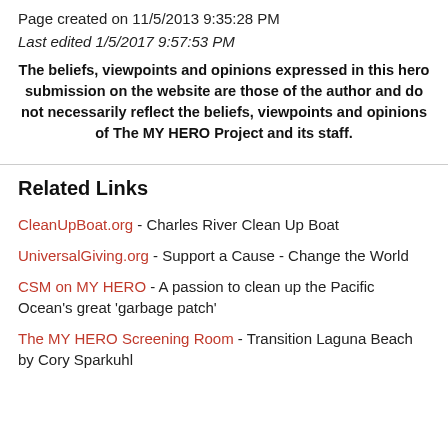Page created on 11/5/2013 9:35:28 PM
Last edited 1/5/2017 9:57:53 PM
The beliefs, viewpoints and opinions expressed in this hero submission on the website are those of the author and do not necessarily reflect the beliefs, viewpoints and opinions of The MY HERO Project and its staff.
Related Links
CleanUpBoat.org - Charles River Clean Up Boat
UniversalGiving.org - Support a Cause - Change the World
CSM on MY HERO - A passion to clean up the Pacific Ocean's great 'garbage patch'
The MY HERO Screening Room - Transition Laguna Beach by Cory Sparkuhl